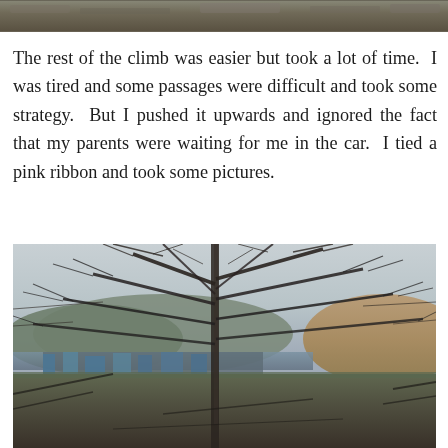[Figure (photo): Partial view of a rocky/wooded scene, cropped at top of page]
The rest of the climb was easier but took a lot of time.  I was tired and some passages were difficult and took some strategy.  But I pushed it upwards and ignored the fact that my parents were waiting for me in the car.  I tied a pink ribbon and took some pictures.
[Figure (photo): A landscape photo taken through bare winter tree branches, showing a valley with buildings and hills in the background under an overcast sky]